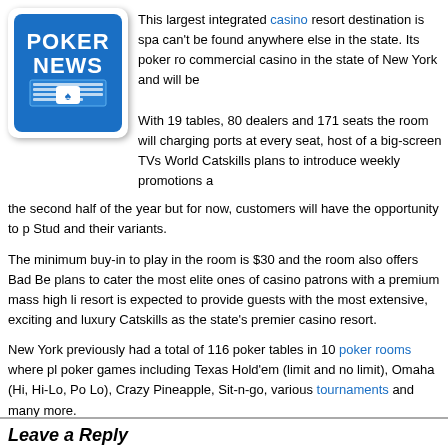[Figure (logo): Poker News logo: blue rounded rectangle with 'POKER NEWS' text in white, newspaper/card icon below]
This largest integrated casino resort destination is spa can't be found anywhere else in the state. Its poker ro commercial casino in the state of New York and will be
With 19 tables, 80 dealers and 171 seats the room will charging ports at every seat, host of a big-screen TVs World Catskills plans to introduce weekly promotions a the second half of the year but for now, customers will have the opportunity to p Stud and their variants.
The minimum buy-in to play in the room is $30 and the room also offers Bad Be plans to cater the most elite ones of casino patrons with a premium mass high li resort is expected to provide guests with the most extensive, exciting and luxury Catskills as the state's premier casino resort.
New York previously had a total of 116 poker tables in 10 poker rooms where pl poker games including Texas Hold'em (limit and no limit), Omaha (Hi, Hi-Lo, Po Lo), Crazy Pineapple, Sit-n-go, various tournaments and many more.
Despite such a good offer, 2017 proved to be quite a disappointment unfortunate collectors.
The casinos generated $230 million less than expected in their revenue projecti almost 40% short of the figure floated during the license-garnering process. Fi expect things to change soon but state officials agree, that even with poorer per managed to boost local economies and the tax coffers of local governments.
Being the biggest casino in the area now, Resort World Catskills will most defini York market.
Leave a Reply